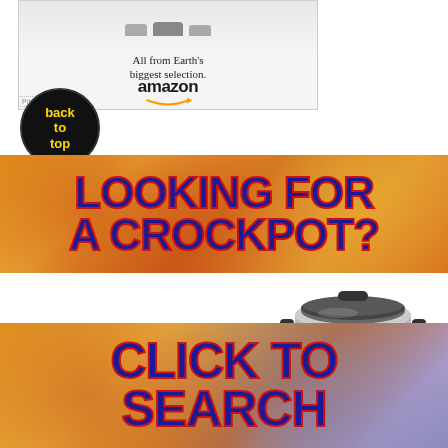[Figure (infographic): Amazon advertisement banner showing cars at top, text 'All from Earth's biggest selection.' and Amazon logo with smile arrow]
[Figure (infographic): Circular black button with gold text 'back to top']
[Figure (infographic): Banner with food background and bold text 'LOOKING FOR A CROCKPOT?' in navy blue with red stroke]
[Figure (photo): Image of a silver crockpot slow cooker with black lid and handles]
[Figure (infographic): Banner with food background and bold text 'CLICK TO SEARCH' in navy blue with red stroke]